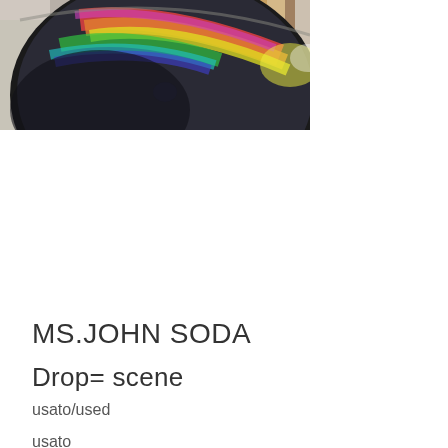[Figure (photo): Close-up photo of a CD/disc showing rainbow iridescent reflections on its surface, with other CDs or cases visible in the background behind it.]
MS.JOHN SODA
Drop= scene
usato/used
usato